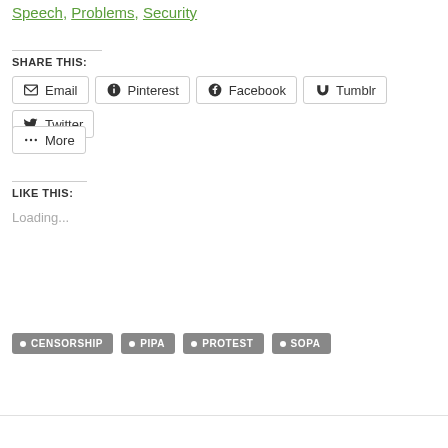Speech, Problems, Security
SHARE THIS:
Email
Pinterest
Facebook
Tumblr
Twitter
More
LIKE THIS:
Loading...
CENSORSHIP
PIPA
PROTEST
SOPA